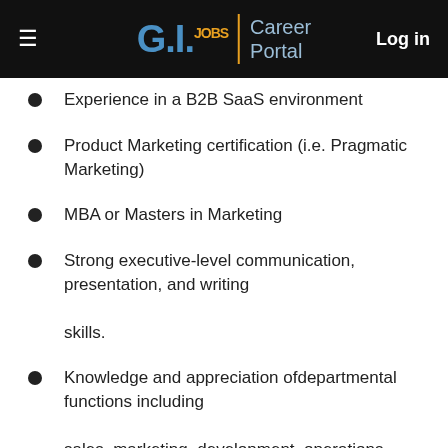G.I.Jobs | Career Portal  Log in
Experience in a B2B SaaS environment
Product Marketing certification (i.e. Pragmatic Marketing)
MBA or Masters in Marketing
Strong executive-level communication, presentation, and writing skills.
Knowledge and appreciation ofdepartmental functions including sales, marketing, development, operations, and customer support
Ability to be a self-starter